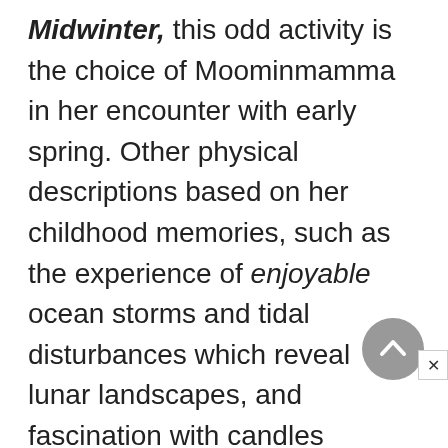Midwinter, this odd activity is the choice of Moominmamma in her encounter with early spring. Other physical descriptions based on her childhood memories, such as the experience of enjoyable ocean storms and tidal disturbances which reveal lunar landscapes, and fascination with candles deemed "interesting" because they might burn nearby walls—all examples of the secure child venturing out into the unfamiliar with confidence and exhilaration—are incorporated